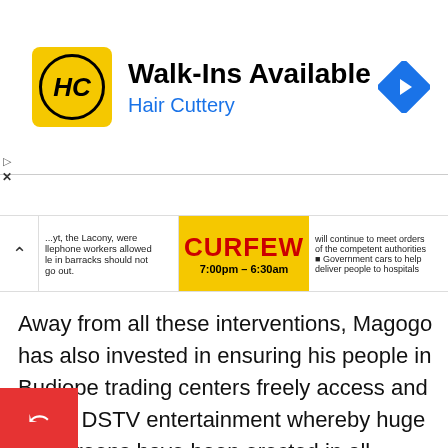[Figure (screenshot): Hair Cuttery advertisement banner with yellow HC logo, 'Walk-Ins Available' headline, 'Hair Cuttery' in blue text, and a blue navigation arrow icon]
[Figure (screenshot): Curfew news ticker banner showing 7:00pm - 6:30am curfew information with three columns of text]
Away from all these interventions, Magogo has also invested in ensuring his people in Budiope trading centers freely access and watch DSTV entertainment whereby huge flat screens have been erected in all trading centers to enable the community members to watch football and other news/entertainment programs available on both local and international channels. Magogo is the one meeting the cost for both power and monthly subscription. Yet that isn't all. Those who wish